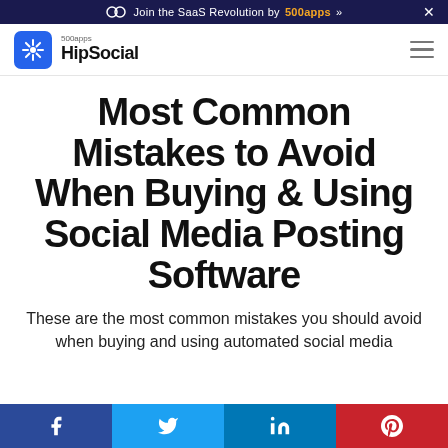Join the SaaS Revolution by 500apps »
[Figure (logo): HipSocial logo with 500apps branding and blue snowflake icon]
Most Common Mistakes to Avoid When Buying & Using Social Media Posting Software
These are the most common mistakes you should avoid when buying and using automated social media
Facebook | Twitter | LinkedIn | Pinterest social share bar